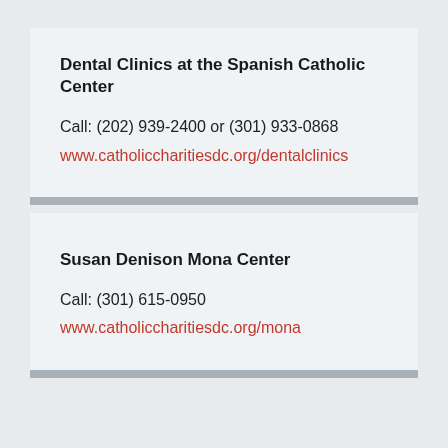Dental Clinics at the Spanish Catholic Center
Call: (202) 939-2400 or (301) 933-0868
www.catholiccharitiesdc.org/dentalclinics
Susan Denison Mona Center
Call: (301) 615-0950
www.catholiccharitiesdc.org/mona